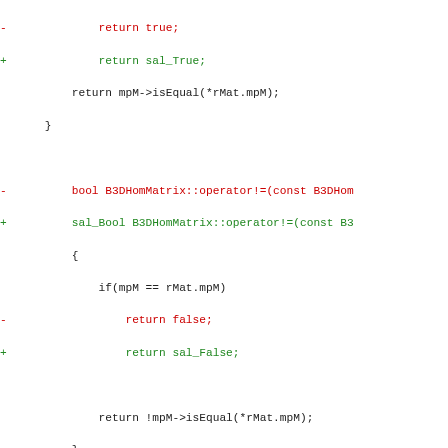[Figure (screenshot): Code diff showing changes in B3DHomMatrix C++ source file, replacing bool with sal_Bool and false/true with sal_False/sal_True]
- return true;
+ return sal_True;
  return mpM->isEqual(*rMat.mpM);
  }
- bool B3DHomMatrix::operator!=(const B3DHom
+ sal_Bool B3DHomMatrix::operator!=(const B3
  {
  if(mpM == rMat.mpM)
- return false;
+ return sal_False;
  return !mpM->isEqual(*rMat.mpM);
  }
@@ -497,15 +497,15 @@ namespace basegfx
  mpM = new Impl3DHomMatrix(aOrthoMat);
  }
- bool B3DHomMatrix::decompose(tuple::B3DTup
+ sal_Bool B3DHomMatrix::decompose(tuple::B3
  {
  // when perspective is used, decompose
  if(!mpM->isLastLineDefault())
- return false;
+ return sal_False;
  // If determinant is zero, decompositi
  if(0.0 == mpM->doDeterminant())
- return false;